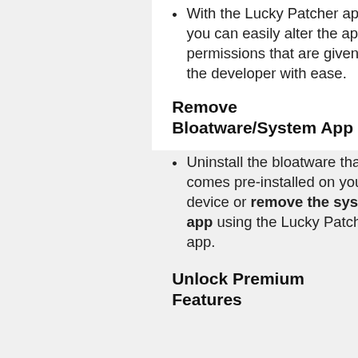With the Lucky Patcher app, you can easily alter the app permissions that are given by the developer with ease.
Remove Bloatware/System App
Uninstall the bloatware that comes pre-installed on your device or remove the system app using the Lucky Patcher app.
Unlock Premium Features